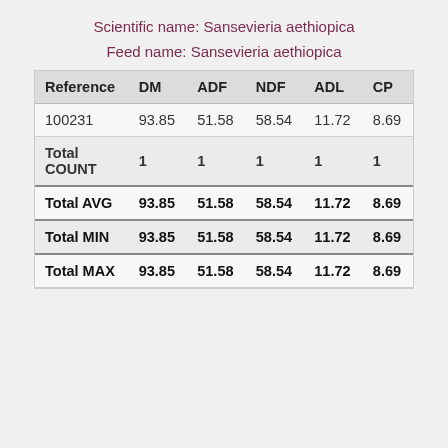Scientific name: Sansevieria aethiopica
Feed name: Sansevieria aethiopica
| Reference | DM | ADF | NDF | ADL | CP |
| --- | --- | --- | --- | --- | --- |
| 100231 | 93.85 | 51.58 | 58.54 | 11.72 | 8.69 |
| Total COUNT | 1 | 1 | 1 | 1 | 1 |
| Total AVG | 93.85 | 51.58 | 58.54 | 11.72 | 8.69 |
| Total MIN | 93.85 | 51.58 | 58.54 | 11.72 | 8.69 |
| Total MAX | 93.85 | 51.58 | 58.54 | 11.72 | 8.69 |